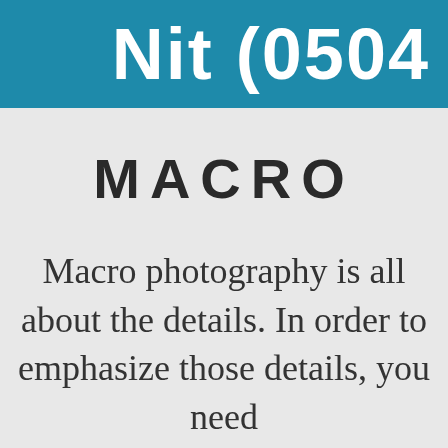Nit (0504
MACRO
Macro photography is all about the details. In order to emphasize those details, you need